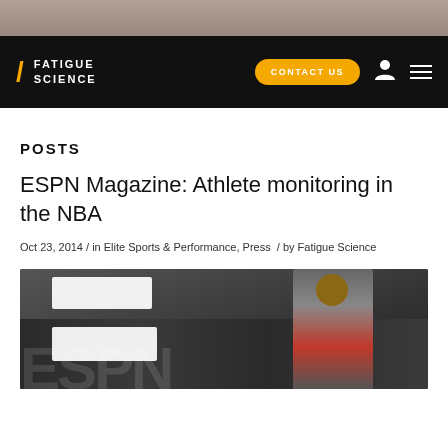[Figure (photo): Top partial image strip showing a person, appears cropped at top of page]
/ FATIGUE SCIENCE   CONTACT US
POSTS
ESPN Magazine: Athlete monitoring in the NBA
Oct 23, 2014 / in Elite Sports & Performance, Press / by Fatigue Science
[Figure (photo): ESPN Magazine cover featuring a basketball player in a red jersey against an urban background, with large ESPN letters visible]